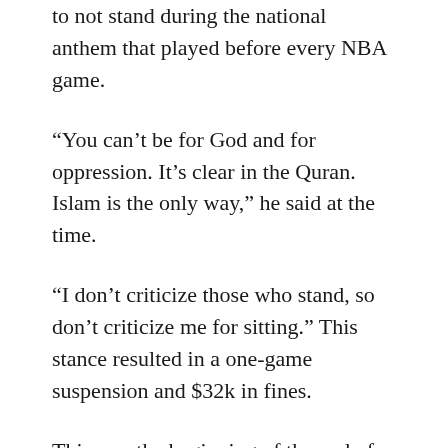to not stand during the national anthem that played before every NBA game.
“You can’t be for God and for oppression. It’s clear in the Quran. Islam is the only way,” he said at the time.
“I don’t criticize those who stand, so don’t criticize me for sitting.” This stance resulted in a one-game suspension and $32k in fines.
This was the beginning of the end of what was once a promising NBA career, cut short as he was quickly phased out and subsequently blackballed out of the league.
In 1998, at the age of 29 and still in his prime, he was